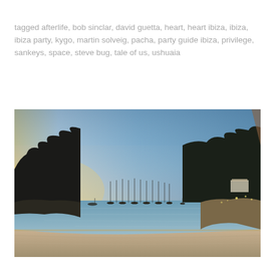tagged afterlife, bob sinclar, david guetta, heart, heart ibiza, ibiza, ibiza party, kygo, martin solveig, pacha, party guide ibiza, privilege, sankeys, space, steve bug, tale of us, ushuaia
[Figure (photo): Panoramic photograph of a calm bay at dusk/sunset. Sailboats are moored on the water. Silhouetted trees and rocky coastline line both sides. The sky transitions from warm yellow-orange on the left to clear blue on the right. Buildings and lights are visible on the right shore.]